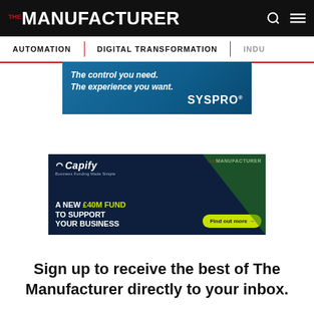THE MANUFACTURER
AUTOMATION | DIGITAL TRANSFORMATION | INDU...
[Figure (screenshot): SYSPRO advertisement banner: 'The control you need. The experience you want.' with SYSPRO logo on blue background]
[Figure (screenshot): Capify advertisement banner: 'A NEW £40M FUND TO SUPPORT YOUR BUSINESS' with 'Find out more' button on dark navy background with green accent]
Sign up to receive the best of The Manufacturer directly to your inbox.